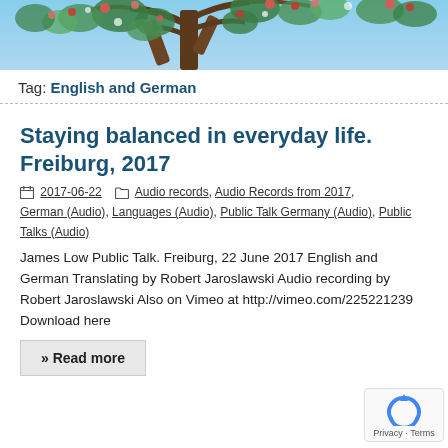[Figure (photo): Banner photo of tree branches with colorful leaves and flowers against a blue sky]
Tag: English and German
Staying balanced in everyday life. Freiburg, 2017
2017-06-22  Audio records, Audio Records from 2017, German (Audio), Languages (Audio), Public Talk Germany (Audio), Public Talks (Audio)
James Low Public Talk. Freiburg, 22 June 2017 English and German Translating by Robert Jaroslawski Audio recording by Robert Jaroslawski Also on Vimeo at http://vimeo.com/225221239 Download here
» Read more